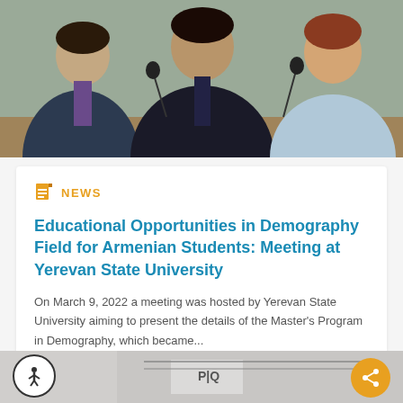[Figure (photo): People seated at a conference table with microphones, appearing to be in a meeting or panel discussion. Three individuals visible: two men in dark suits on the left and center, a woman in a light blue jacket on the right.]
NEWS
Educational Opportunities in Demography Field for Armenian Students: Meeting at Yerevan State University
On March 9, 2022 a meeting was hosted by Yerevan State University aiming to present the details of the Master's Program in Demography, which became...
14 March 2022
read more >
[Figure (photo): Partial view of another news item photo showing an interior room with what appears to be a logo or sign visible.]